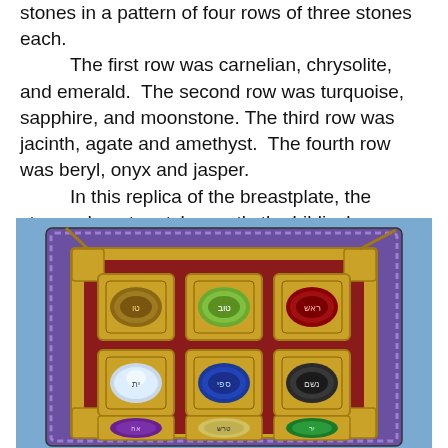stones in a pattern of four rows of three stones each.
    The first row was carnelian, chrysolite, and emerald.  The second row was turquoise, sapphire, and moonstone. The third row was jacinth, agate and amethyst.  The fourth row was beryl, onyx and jasper.
    In this replica of the breastplate, the stones do not match exactly the biblical description.
[Figure (photo): A replica of the biblical High Priest breastplate worn on a blue garment. The breastplate is square with a decorative border, gold trim and braided edges. It features a red background with a 3x3 visible grid of gemstones in ornate gold settings, each stone labeled with Hebrew text. Visible stones include brown/tiger eye, green peridot, dark red garnet/ruby in the top row; clear crystal, blue sapphire, and dark stone in the middle row; purple amethyst, lighter stone, and green stone in the bottom row.]